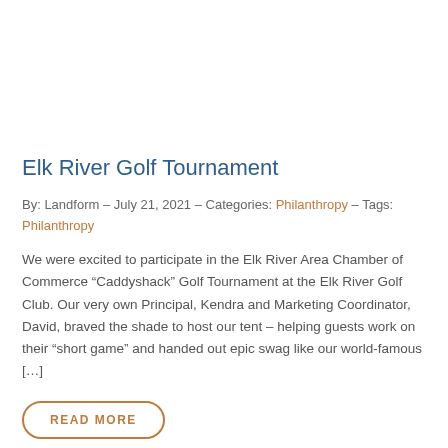Elk River Golf Tournament
By: Landform – July 21, 2021 – Categories: Philanthropy – Tags: Philanthropy
We were excited to participate in the Elk River Area Chamber of Commerce “Caddyshack” Golf Tournament at the Elk River Golf Club. Our very own Principal, Kendra and Marketing Coordinator, David, braved the shade to host our tent – helping guests work on their “short game” and handed out epic swag like our world-famous […]
READ MORE